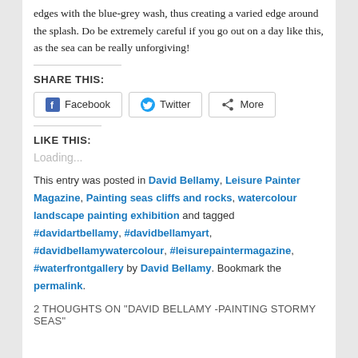edges with the blue-grey wash, thus creating a varied edge around the splash. Do be extremely careful if you go out on a day like this, as the sea can be really unforgiving!
SHARE THIS:
[Figure (other): Social share buttons: Facebook, Twitter, More]
LIKE THIS:
Loading...
This entry was posted in David Bellamy, Leisure Painter Magazine, Painting seas cliffs and rocks, watercolour landscape painting exhibition and tagged #davidartbellamy, #davidbellamyart, #davidbellamywatercolour, #leisurepaintermagazine, #waterfrontgallery by David Bellamy. Bookmark the permalink.
2 THOUGHTS ON "DAVID BELLAMY -PAINTING STORMY SEAS"